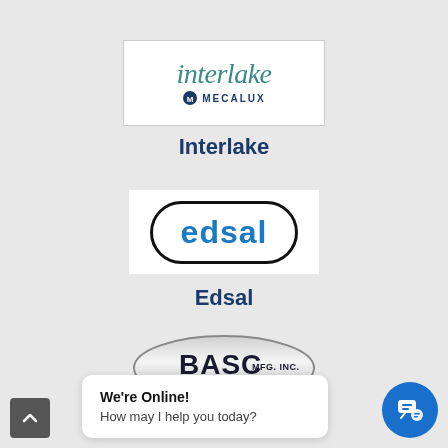[Figure (logo): Interlake Mecalux logo — italic teal 'interlake' wordmark with circular Mecalux emblem and 'MECALUX' text in dark navy]
Interlake
[Figure (logo): Edsal logo — bold blue 'edsal' text inside a rounded oval black border on white background]
Edsal
[Figure (logo): BASC Mfg. Inc. logo — bold dark text 'BASC MFG. INC.' inside a metallic silver/gray oval badge]
BASC
We're Online!
How may I help you today?